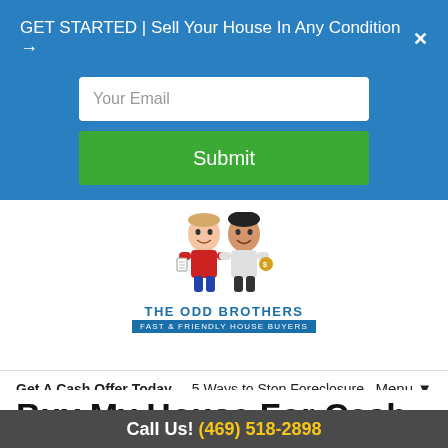GET STARTED | Sell Your House In Any Condition →  ✕
[Figure (illustration): Email input field with placeholder text 'Your Email' and a green Submit button on blue background]
[Figure (logo): The Odd Brothers - Fast & Friendly House Buyers cartoon logo with two caricature figures]
Get A Cash Offer Today   5 Ways to Stop Foreclosure   Menu ▼
Buy My House For Cash
Call Us! (469) 518-2898